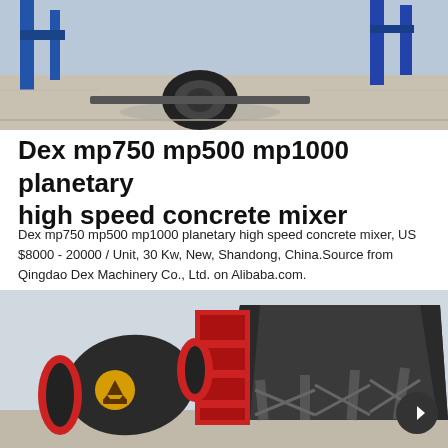[Figure (photo): Industrial machinery or equipment photographed outdoors on a concrete surface, showing a large wheel/tire and blue structural components.]
Dex mp750 mp500 mp1000 planetary high speed concrete mixer
Dex mp750 mp500 mp1000 planetary high speed concrete mixer, US $8000 - 20000 / Unit, 30 Kw, New, Shandong, China.Source from Qingdao Dex Machinery Co., Ltd. on Alibaba.com.
[Figure (photo): Industrial concrete mixing equipment: a large dark cylindrical drum mixer with red accents and a yellow logo, along with a large dark hopper/bin structure on the right side, photographed outdoors.]